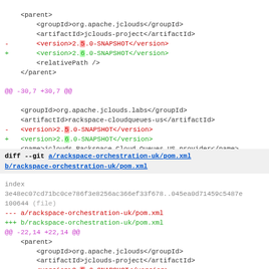diff hunk and XML code showing version changes from 2.5.0-SNAPSHOT to 2.6.0-SNAPSHOT in rackspace-cloudqueues-us and rackspace-orchestration-uk pom.xml files
diff --git a/rackspace-orchestration-uk/pom.xml b/rackspace-orchestration-uk/pom.xml
index 3e48ec07cd71bc0ce786f3e8256ac366ef33f678..045ea0d71459c5487e 100644 (file)
--- a/rackspace-orchestration-uk/pom.xml
+++ b/rackspace-orchestration-uk/pom.xml
@@ -22,14 +22,14 @@